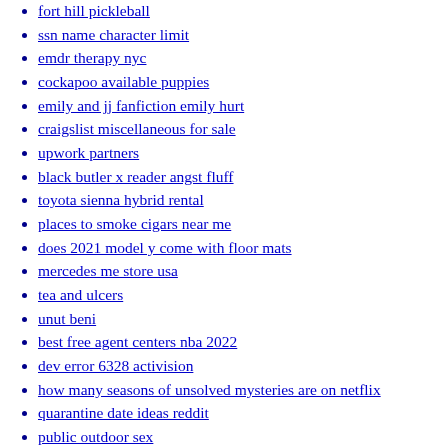fort hill pickleball
ssn name character limit
emdr therapy nyc
cockapoo available puppies
emily and jj fanfiction emily hurt
craigslist miscellaneous for sale
upwork partners
black butler x reader angst fluff
toyota sienna hybrid rental
places to smoke cigars near me
does 2021 model y come with floor mats
mercedes me store usa
tea and ulcers
unut beni
best free agent centers nba 2022
dev error 6328 activision
how many seasons of unsolved mysteries are on netflix
quarantine date ideas reddit
public outdoor sex
siriusxm payment center
aod 9604 mixing
self dispatch lease purchase
lexington nc shooting
subaru years
fedex unclaimed packages auction